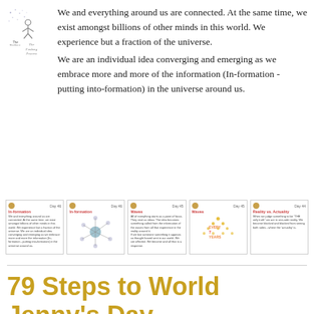[Figure (logo): The Fenberg Process logo with stylized figure and dots]
We and everything around us are connected. At the same time, we exist amongst billions of other minds in this world. We experience but a fraction of the universe.
We are an individual idea converging and emerging as we embrace more and more of the information (In-formation - putting into-formation) in the universe around us.
[Figure (infographic): Five cards in a row showing Day 46 In-formation (text), Day 46 In-formation (network diagram), Day 45 Waves (text), Day 45 Waves (illustration), Day 44 Reality vs. Actuality (text)]
79 Steps to World Jenny's Day